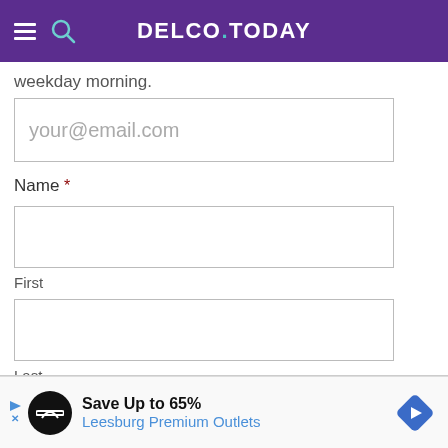DELCO.TODAY
weekday morning.
your@email.com
Name *
First
Last
SIGN-UP
Save Up to 65% Leesburg Premium Outlets